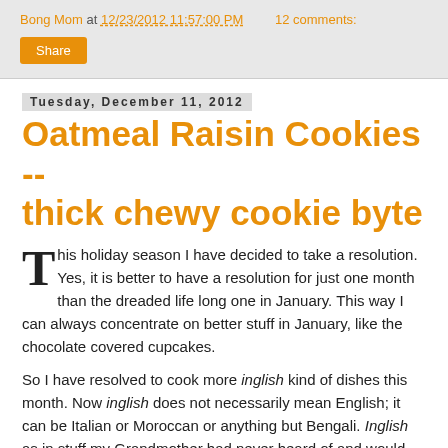Bong Mom at 12/23/2012 11:57:00 PM    12 comments:
Share
Tuesday, December 11, 2012
Oatmeal Raisin Cookies -- thick chewy cookie byte
This holiday season I have decided to take a resolution. Yes, it is better to have a resolution for just one month than the dreaded life long one in January. This way I can always concentrate on better stuff in January, like the chocolate covered cupcakes.
So I have resolved to cook more inglish kind of dishes this month. Now inglish does not necessarily mean English; it can be Italian or Moroccan or anything but Bengali. Inglish as in stuff my Grandmother had never heard of and would probably refuse to eat otherwise -- stuff my Mother might have